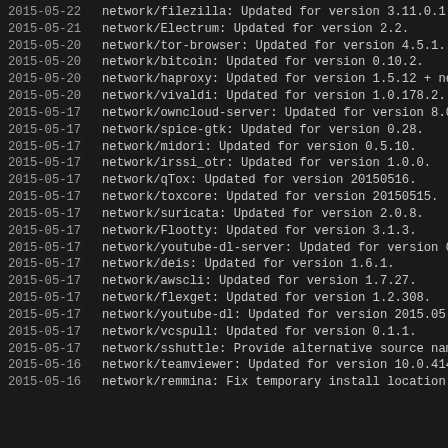2015-05-22  network/filezilla: Updated for version 3.11.0.1.
2015-05-21  network/Electrum: Updated for version 2.2.
2015-05-20  network/tor-browser: Updated for version 4.5.1.
2015-05-20  network/bitcoin: Updated for version 0.10.2.
2015-05-20  network/haproxy: Updated for version 1.5.12 + new maintainer.
2015-05-20  network/vivaldi: Updated for version 1.0.178.2.
2015-05-17  network/owncloud-server: Updated for version 8.0.3.
2015-05-17  network/spice-gtk: Updated for version 0.28.
2015-05-17  network/midori: Updated for version 0.5.10.
2015-05-17  network/irssi_otr: Updated for version 1.0.0.
2015-05-17  network/qTox: Updated for version 20150516.
2015-05-17  network/toxcore: Updated for version 20150515.
2015-05-17  network/suricata: Updated for version 2.0.8.
2015-05-17  network/Flootty: Updated for version 3.1.3.
2015-05-17  network/youtube-dl-server: Updated for version 0.2.
2015-05-17  network/deis: Updated for version 1.6.1.
2015-05-17  network/awscli: Updated for version 1.7.27.
2015-05-17  network/flexget: Updated for version 1.2.308.
2015-05-17  network/youtube-dl: Updated for version 2015.05.10.
2015-05-17  network/vcspull: Updated for version 0.1.1.
2015-05-17  network/sshuttle: Provide alternative source name.
2015-05-16  network/teamviewer: Updated for version 10.0.41499.
2015-05-16  network/remmina: Fix temporary install location of libssh.